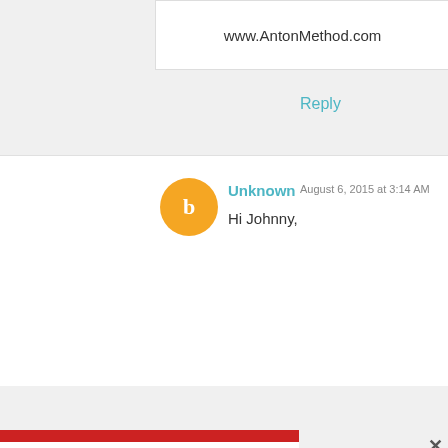www.AntonMethod.com
Reply
Unknown  August 6, 2015 at 3:14 AM
Hi Johnny,
[Figure (photo): Popup modal with martial arts fighters on left panel and email signup form on right. Left panel shows 'Join the Travel Like a Boss Army' text over an image of fighters with a flag stripe background. Right panel has email input field and 'JOIN TODAY!' button.]
Sign up today and get free stuff like 20% off Shopify coupons, my 5 Steps to Success videos and exclusive event invites!As a bonus for signing up you'll also get the "How to Pick the Perfect Niche" bonus episode!
Enter your email address
JOIN TODAY!